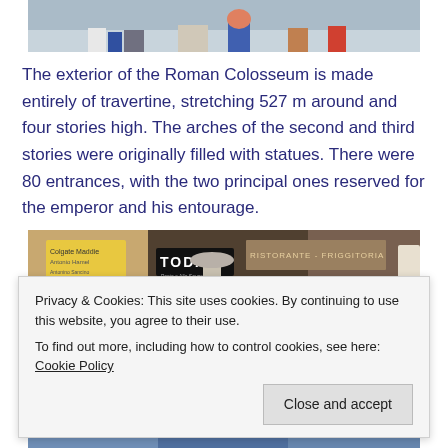[Figure (photo): Top portion of a photo showing people's legs and feet walking, partial view of tourists near the Roman Colosseum area.]
The exterior of the Roman Colosseum is made entirely of travertine, stretching 527 m around and four stories high. The arches of the second and third stories were originally filled with statues. There were 80 entrances, with the two principal ones reserved for the emperor and his entourage.
[Figure (photo): Street-level photo showing storefronts near the Colosseum, including a sign reading 'TODAY' and other restaurant/shop signage.]
Privacy & Cookies: This site uses cookies. By continuing to use this website, you agree to their use.
To find out more, including how to control cookies, see here: Cookie Policy
[Figure (photo): Bottom partial photo showing people, partially cut off at the bottom of the page.]